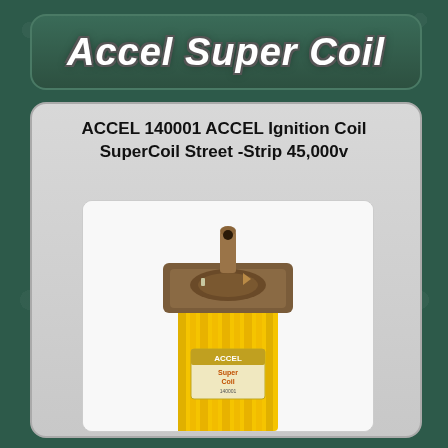Accel Super Coil
ACCEL 140001 ACCEL Ignition Coil SuperCoil Street -Strip 45,000v
[Figure (photo): Photo of ACCEL Super Coil ignition coil product - yellow cylindrical body with brown top cap, showing the ACCEL Super Coil label on the side]